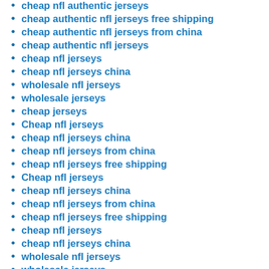cheap nfl authentic jerseys
cheap authentic nfl jerseys free shipping
cheap authentic nfl jerseys from china
cheap authentic nfl jerseys
cheap nfl jerseys
cheap nfl jerseys china
wholesale nfl jerseys
wholesale jerseys
cheap jerseys
Cheap nfl jerseys
cheap nfl jerseys china
cheap nfl jerseys from china
cheap nfl jerseys free shipping
Cheap nfl jerseys
cheap nfl jerseys china
cheap nfl jerseys from china
cheap nfl jerseys free shipping
cheap nfl jerseys
cheap nfl jerseys china
wholesale nfl jerseys
wholesale jerseys
Cheap nfl jerseys
cheap nfl jerseys china
cheap nfl jerseys from china
cheap nfl jerseys free shipping
jerseys for cheap